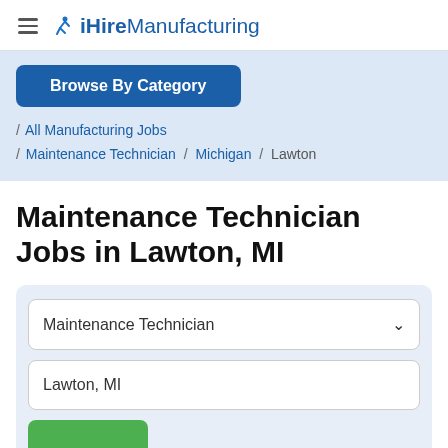iHireManufacturing
Browse By Category
/ All Manufacturing Jobs / Maintenance Technician / Michigan / Lawton
Maintenance Technician Jobs in Lawton, MI
Maintenance Technician [dropdown]
Lawton, MI [input]